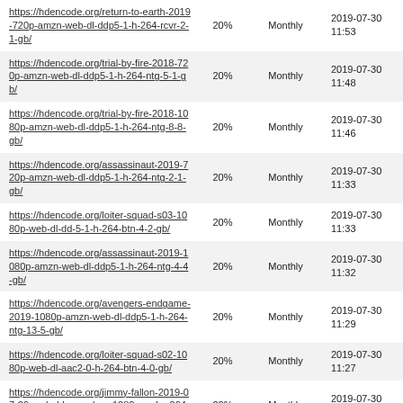| https://hdencode.org/return-to-earth-2019-720p-amzn-web-dl-ddp5-1-h-264-rcvr-2-1-gb/ | 20% | Monthly | 2019-07-30 11:53 |
| https://hdencode.org/trial-by-fire-2018-720p-amzn-web-dl-ddp5-1-h-264-ntg-5-1-gb/ | 20% | Monthly | 2019-07-30 11:48 |
| https://hdencode.org/trial-by-fire-2018-1080p-amzn-web-dl-ddp5-1-h-264-ntg-8-8-gb/ | 20% | Monthly | 2019-07-30 11:46 |
| https://hdencode.org/assassinaut-2019-720p-amzn-web-dl-ddp5-1-h-264-ntg-2-1-gb/ | 20% | Monthly | 2019-07-30 11:33 |
| https://hdencode.org/loiter-squad-s03-1080p-web-dl-dd-5-1-h-264-btn-4-2-gb/ | 20% | Monthly | 2019-07-30 11:33 |
| https://hdencode.org/assassinaut-2019-1080p-amzn-web-dl-ddp5-1-h-264-ntg-4-4-gb/ | 20% | Monthly | 2019-07-30 11:32 |
| https://hdencode.org/avengers-endgame-2019-1080p-amzn-web-dl-ddp5-1-h-264-ntg-13-5-gb/ | 20% | Monthly | 2019-07-30 11:29 |
| https://hdencode.org/loiter-squad-s02-1080p-web-dl-aac2-0-h-264-btn-4-0-gb/ | 20% | Monthly | 2019-07-30 11:27 |
| https://hdencode.org/jimmy-fallon-2019-07-29-rachel-brosnahan-1080p-web-x264-trump-1-2-gb/ | 20% | Monthly | 2019-07-30 11:25 |
| https://hdencode.org/loiter-squad-s01-1080p-web-dl-aac2-0-h-264-btn-4-5-gb/ | 20% | Monthly | 2019-07-30 11:25 |